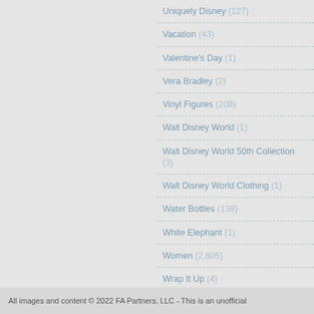Uniquely Disney (127)
Vacation (43)
Valentine's Day (1)
Vera Bradley (2)
Vinyl Figures (208)
Walt Disney World (1)
Walt Disney World 50th Collection (3)
Walt Disney World Clothing (1)
Water Bottles (139)
White Elephant (1)
Women (2,805)
Wrap It Up (4)
All images and content © 2022 FA Partners, LLC - This is an unofficial